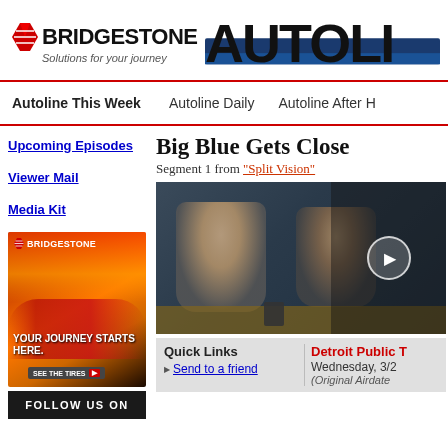[Figure (logo): Bridgestone logo with flag icon and tagline 'Solutions for your journey']
[Figure (logo): Autoline logo in large bold black text with blue accent bar]
Autoline This Week | Autoline Daily | Autoline After H
Upcoming Episodes
Viewer Mail
Media Kit
[Figure (photo): Bridgestone advertisement showing a red sports car at sunset with text 'YOUR JOURNEY STARTS HERE. SEE THE TIRES >']
Big Blue Gets Close
Segment 1 from "Split Vision"
[Figure (screenshot): Video thumbnail showing two people seated at a table in a studio setting, with a play button overlay]
Quick Links
Send to a friend
Detroit Public T
Wednesday, 3/2
(Original Airdate